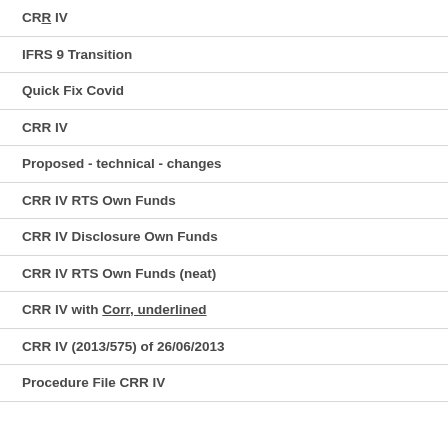CRR IV
IFRS 9 Transition
Quick Fix Covid
CRR IV
Proposed - technical - changes
CRR IV RTS Own Funds
CRR IV Disclosure Own Funds
CRR IV RTS Own Funds (neat)
CRR IV with Corr, underlined
CRR IV (2013/575) of 26/06/2013
Procedure File CRR IV